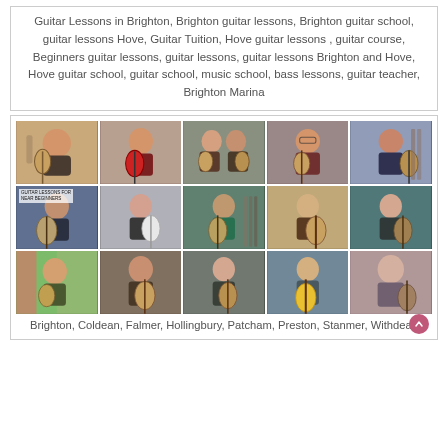Guitar Lessons in Brighton, Brighton guitar lessons, Brighton guitar school, guitar lessons Hove, Guitar Tuition, Hove guitar lessons , guitar course, Beginners guitar lessons, guitar lessons, guitar lessons Brighton and Hove, Hove guitar school, guitar school, music school, bass lessons, guitar teacher, Brighton Marina
[Figure (photo): 3x5 grid of 15 photos showing guitar students of various ages holding guitars in different settings, with a small text overlay reading 'GUITAR LESSONS FOR NEAR BEGINNERS' on one photo.]
Brighton, Coldean, Falmer, Hollingbury, Patcham, Preston, Stanmer, Withdean